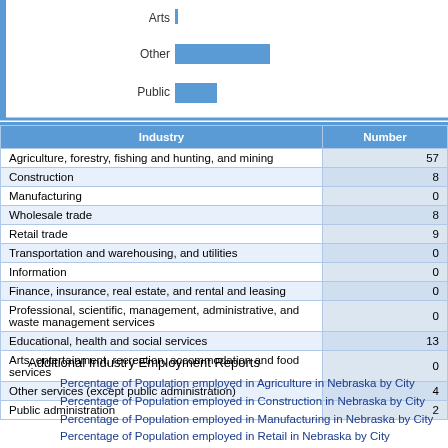[Figure (bar-chart): Partial bar chart showing Arts, Other, and Public categories with blue bars (top portion cut off).]
| Industry | Number |
| --- | --- |
| Agriculture, forestry, fishing and hunting, and mining | 57 |
| Construction | 8 |
| Manufacturing | 0 |
| Wholesale trade | 8 |
| Retail trade | 9 |
| Transportation and warehousing, and utilities | 0 |
| Information | 0 |
| Finance, insurance, real estate, and rental and leasing | 0 |
| Professional, scientific, management, administrative, and waste management services | 0 |
| Educational, health and social services | 13 |
| Arts, entertainment, recreation, accommodation and food services | 0 |
| Other services (except public administration) | 4 |
| Public administration | 2 |
Additional Industry Employment Reports
Percentage of Population employed in Agriculture in Nebraska by City
Percentage of Population employed in Construction in Nebraska by City
Percentage of Population employed in Manufacturing in Nebraska by City
Percentage of Population employed in Retail in Nebraska by City
Percentage of Population employed in Transportation in Nebraska by City
Percentage of Population employed in Information Technology in Nebraska by City